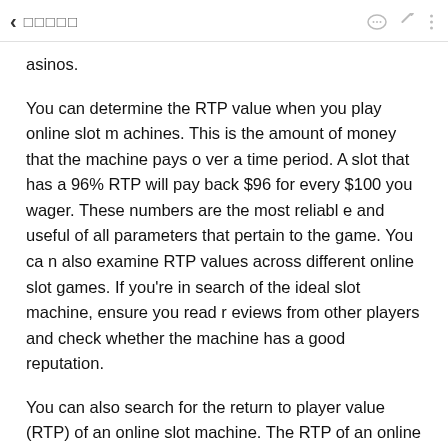< □□□□□
asinos.
You can determine the RTP value when you play online slot machines. This is the amount of money that the machine pays over a time period. A slot that has a 96% RTP will pay back $96 for every $100 you wager. These numbers are the most reliable and useful of all parameters that pertain to the game. You can also examine RTP values across different online slot games. If you're in search of the ideal slot machine, ensure you read reviews from other players and check whether the machine has a good reputation.
You can also search for the return to player value (RTP) of an online slot machine. The RTP of an online slot machine is the percentage it will earn over time. For instance, bets a machine with an RTP of 96% will give you $96 per $100 you bet. The R